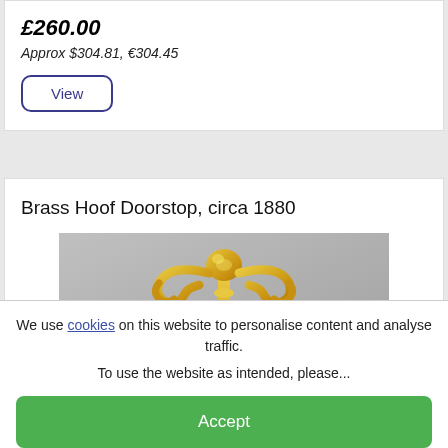£260.00
Approx $304.81, €304.45
View
Brass Hoof Doorstop, circa 1880
[Figure (photo): A brass hoof doorstop ornament, circa 1880, showing a polished golden brass decorative top with curved horns/hooks on a vertical pole, photographed against a grey background.]
We use cookies on this website to personalise content and analyse traffic. To use the website as intended, please...
Accept